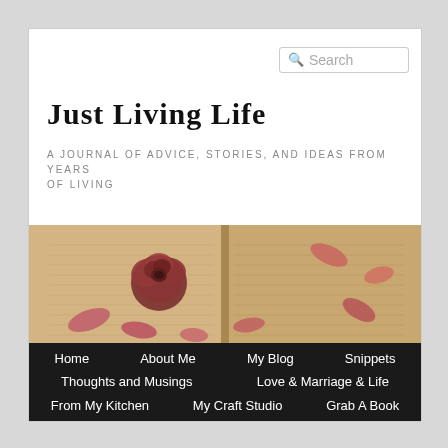Just Living Life
A journal of advice, stories, and ideas from years of living
[Figure (photo): Photo of an open book with dried rose petals and a dried red rose resting on the pages]
Home
About Me
My Blog
Snippets
Thoughts and Musings
Love & Marriage & Life
From My Kitchen
My Craft Studio
Grab A Book